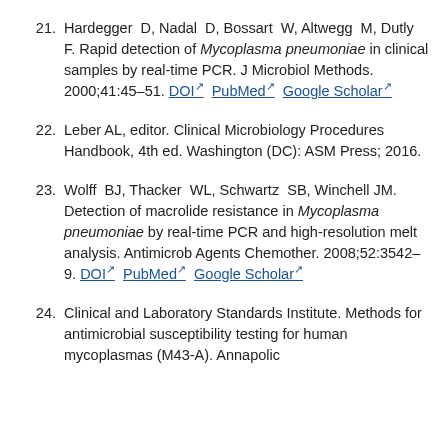21. Hardegger D, Nadal D, Bossart W, Altwegg M, Dutly F. Rapid detection of Mycoplasma pneumoniae in clinical samples by real-time PCR. J Microbiol Methods. 2000;41:45–51. DOI PubMed Google Scholar
22. Leber AL, editor. Clinical Microbiology Procedures Handbook, 4th ed. Washington (DC): ASM Press; 2016.
23. Wolff BJ, Thacker WL, Schwartz SB, Winchell JM. Detection of macrolide resistance in Mycoplasma pneumoniae by real-time PCR and high-resolution melt analysis. Antimicrob Agents Chemother. 2008;52:3542–9. DOI PubMed Google Scholar
24. Clinical and Laboratory Standards Institute. Methods for antimicrobial susceptibility testing for human mycoplasmas (M43-A). Annnapolis...